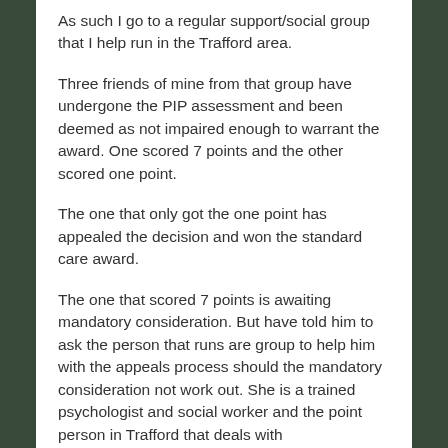As such I go to a regular support/social group that I help run in the Trafford area.
Three friends of mine from that group have undergone the PIP assessment and been deemed as not impaired enough to warrant the award. One scored 7 points and the other scored one point.
The one that only got the one point has appealed the decision and won the standard care award.
The one that scored 7 points is awaiting mandatory consideration. But have told him to ask the person that runs are group to help him with the appeals process should the mandatory consideration not work out. She is a trained psychologist and social worker and the point person in Trafford that deals with